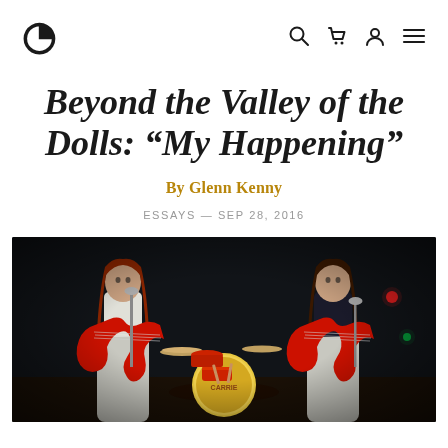Criterion logo and navigation icons
Beyond the Valley of the Dolls: “My Happening”
By Glenn Kenny
ESSAYS — SEP 28, 2016
[Figure (photo): Two women playing red electric guitars on a dark stage with a drum kit in the center background. They are wearing silver/white outfits. The bass drum reads 'The Carrie'. Stage lighting visible in background.]